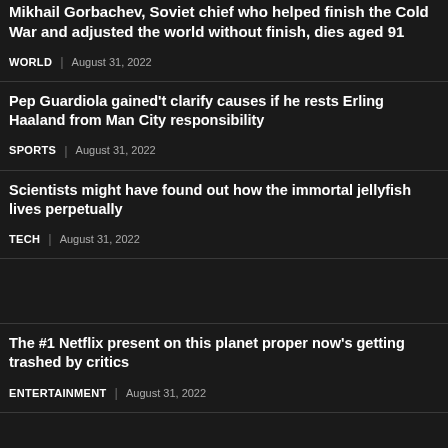Mikhail Gorbachev, Soviet chief who helped finish the Cold War and adjusted the world without finish, dies aged 91
WORLD | August 31, 2022
Pep Guardiola gained't clarify causes if he rests Erling Haaland from Man City responsibility
SPORTS | August 31, 2022
Scientists might have found out how the immortal jellyfish lives perpetually
TECH | August 31, 2022
The #1 Netflix present on this planet proper now's getting trashed by critics
ENTERTAINMENT | August 31, 2022